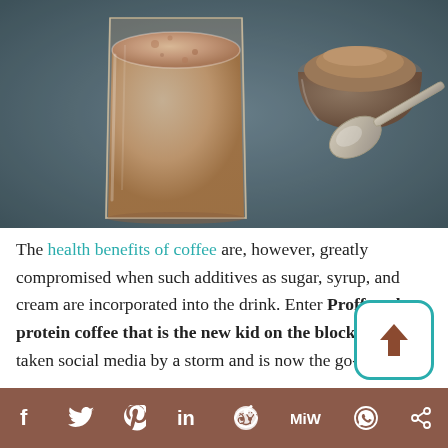[Figure (photo): A glass of proffee (protein coffee) with frothy chocolate-brown top, a small glass bowl of cocoa/protein powder, and a metal spoon on a dark grey surface.]
The health benefits of coffee are, however, greatly compromised when such additives as sugar, syrup, and cream are incorporated into the drink. Enter Proffee, the protein coffee that is the new kid on the block. It has taken social media by a storm and is now the go-to, everyday drink for a lot of people.
[Figure (infographic): Share/upload button icon with upward arrow in a rounded square, teal border on white background.]
f  (Twitter bird)  P  in  (Reddit alien)  MW  (WhatsApp)  (Share)